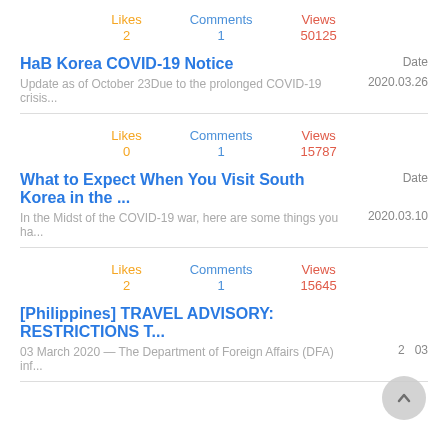Likes 2 | Comments 1 | Views 50125
HaB Korea COVID-19 Notice
Update as of October 23Due to the prolonged COVID-19 crisis...
Date 2020.03.26
Likes 0 | Comments 1 | Views 15787
What to Expect When You Visit South Korea in the ...
In the Midst of the COVID-19 war, here are some things you ha...
Date 2020.03.10
Likes 2 | Comments 1 | Views 15645
[Philippines] TRAVEL ADVISORY: RESTRICTIONS T...
03 March 2020 — The Department of Foreign Affairs (DFA) inf...
Date 2020.03.03